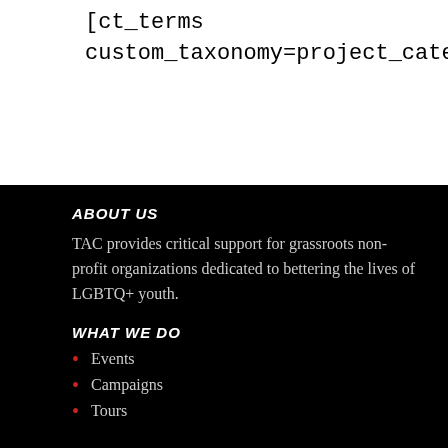[ct_terms custom_taxonomy=project_category]
ABOUT US
TAC provides critical support for grassroots non-profit organizations dedicated to bettering the lives of LGBTQ+ youth.
WHAT WE DO
Events
Campaigns
Tours